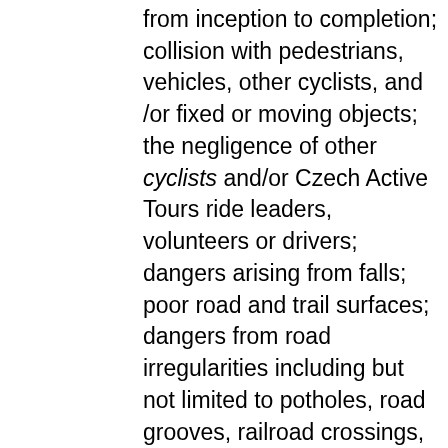from inception to completion; collision with pedestrians, vehicles, other cyclists, and /or fixed or moving objects; the negligence of other cyclists and/or Czech Active Tours ride leaders, volunteers or drivers; dangers arising from falls; poor road and trail surfaces; dangers from road irregularities including but not limited to potholes, road grooves, railroad crossings, and slippery metal and wooden bridges; hazardous traffic patterns; exposure to risks while engaged in other voluntary activities related to the tour including but not limited to swimming, kayaking, and walking to various destinations; breakdown or failure of bicycles-owned or rented- or other equipment; negligence in the maintenance and operation of any van or other motor vehicle used to transport passengers; transportation failures whether by train, auto, van or bus, boat, by foot or any other conveyance; hazards of consumption of alcoholic beverages;